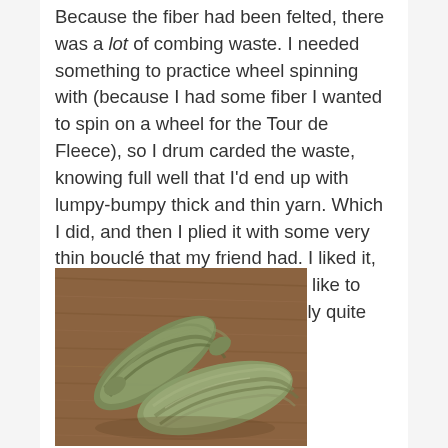Because the fiber had been felted, there was a lot of combing waste. I needed something to practice wheel spinning with (because I had some fiber I wanted to spin on a wheel for the Tour de Fleece), so I drum carded the waste, knowing full well that I'd end up with lumpy-bumpy thick and thin yarn. Which I did, and then I plied it with some very thin bouclé that my friend had. I liked it, but it was bulkier than I usually like to use, and besides, it wasn't really quite my style.
[Figure (photo): Two skeins of handspun green/olive yarn resting on a wooden surface. The yarn appears thick and textured, twisted into hanks.]